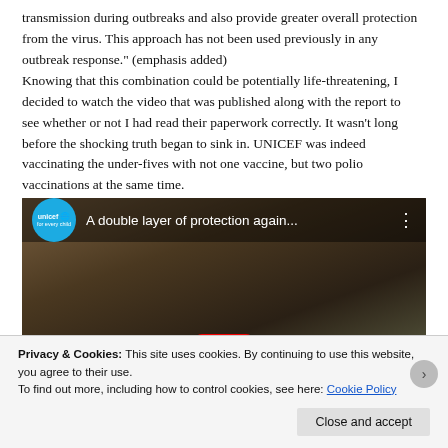transmission during outbreaks and also provide greater overall protection from the virus. This approach has not been used previously in any outbreak response." (emphasis added)
Knowing that this combination could be potentially life-threatening, I decided to watch the video that was published along with the report to see whether or not I had read their paperwork correctly. It wasn't long before the shocking truth began to sink in. UNICEF was indeed vaccinating the under-fives with not one vaccine, but two polio vaccinations at the same time.
[Figure (screenshot): YouTube video embed with UNICEF branding. Title reads 'A double layer of protection again...' with a play button visible. Shows a child's face in background.]
Privacy & Cookies: This site uses cookies. By continuing to use this website, you agree to their use.
To find out more, including how to control cookies, see here: Cookie Policy